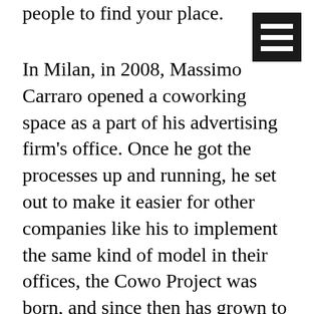people to find your place.
[Figure (other): Hamburger menu icon — three horizontal white lines on a black square background, positioned in the top-right corner.]
In Milan, in 2008, Massimo Carraro opened a coworking space as a part of his advertising firm's office. Once he got the processes up and running, he set out to make it easier for other companies like his to implement the same kind of model in their offices, the Cowo Project was born, and since then has grown to 161+ spaces all across Italy and now Switzerland as well. In exchange for an annual fee, each participating space gets branded promotional materials, professional photographs of the space, listing on the project's online network, access to online